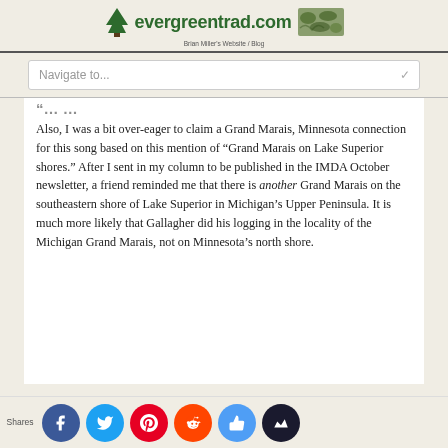evergreentrad.com — Brian Miller's Website / Blog
Navigate to...
Also, I was a bit over-eager to claim a Grand Marais, Minnesota connection for this song based on this mention of "Grand Marais on Lake Superior shores." After I sent in my column to be published in the IMDA October newsletter, a friend reminded me that there is another Grand Marais on the southeastern shore of Lake Superior in Michigan's Upper Peninsula. It is much more likely that Gallagher did his logging in the locality of the Michigan Grand Marais, not on Minnesota's north shore.
Shares — social share icons: Facebook, Twitter, Pinterest, Reddit, Like, Share